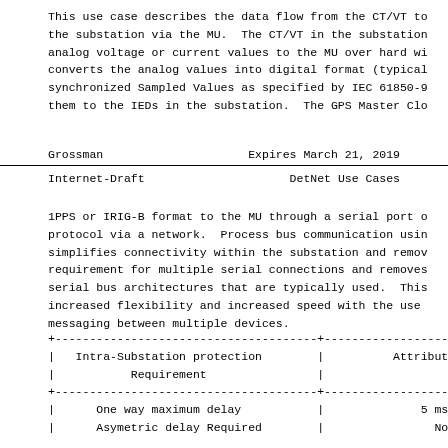This use case describes the data flow from the CT/VT to
the substation via the MU.  The CT/VT in the substation
analog voltage or current values to the MU over hard wi
converts the analog values into digital format (typical
synchronized Sampled Values as specified by IEC 61850-9
them to the IEDs in the substation.  The GPS Master Clo
Grossman                    Expires March 21, 2019
Internet-Draft              DetNet Use Cases
1PPS or IRIG-B format to the MU through a serial port o
protocol via a network.  Process bus communication usin
simplifies connectivity within the substation and remov
requirement for multiple serial connections and removes
serial bus architectures that are typically used.  This
increased flexibility and increased speed with the use
messaging between multiple devices.
| Intra-Substation protection Requirement | Attribut |
| --- | --- |
| One way maximum delay | 5 ms |
| Asymetric delay Required | No |